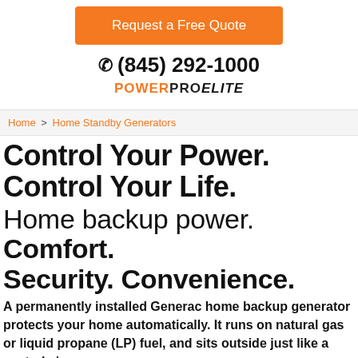Request a Free Quote
☎ (845) 292-1000
POWERPRO ELITE
Home > Home Standby Generators
Control Your Power. Control Your Life.
Home backup power. Comfort. Security. Convenience.
A permanently installed Generac home backup generator protects your home automatically. It runs on natural gas or liquid propane (LP) fuel, and sits outside just like a central air